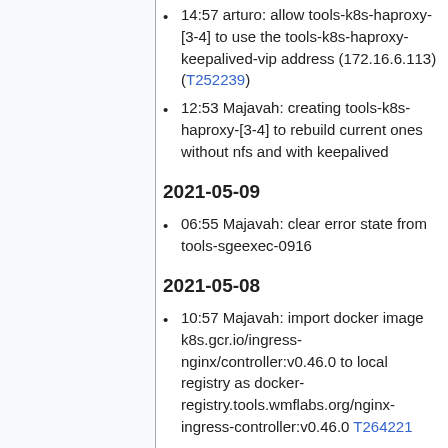14:57 arturo: allow tools-k8s-haproxy-[3-4] to use the tools-k8s-haproxy-keepalived-vip address (172.16.6.113) (T252239)
12:53 Majavah: creating tools-k8s-haproxy-[3-4] to rebuild current ones without nfs and with keepalived
2021-05-09
06:55 Majavah: clear error state from tools-sgeexec-0916
2021-05-08
10:57 Majavah: import docker image k8s.gcr.io/ingress-nginx/controller:v0.46.0 to local registry as docker-registry.tools.wmflabs.org/nginx-ingress-controller:v0.46.0 T264221
2021-05-07